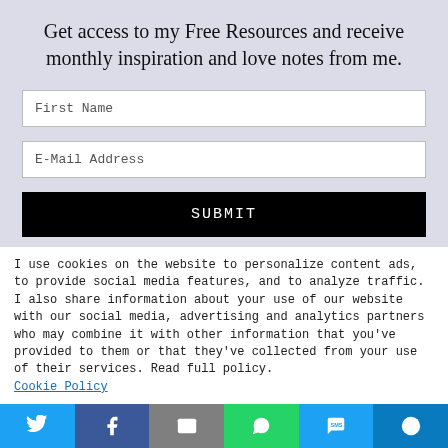Get access to my Free Resources and receive monthly inspiration and love notes from me.
First Name
E-Mail Address
SUBMIT
I use cookies on the website to personalize content ads, to provide social media features, and to analyze traffic. I also share information about your use of our website with our social media, advertising and analytics partners who may combine it with other information that you've provided to them or that they've collected from your use of their services. Read full policy.
Cookie Policy